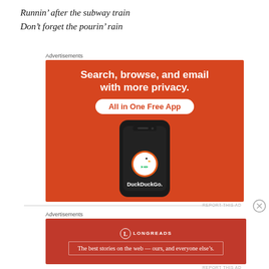Runnin’ after the subway train
Don’t forget the pourin’ rain
Advertisements
[Figure (photo): DuckDuckGo advertisement: orange background with white bold text reading 'Search, browse, and email with more privacy.' with a white pill button 'All in One Free App'. Below is a dark smartphone showing the DuckDuckGo duck logo and the text 'DuckDuckGo.']
REPORT THIS AD
Advertisements
[Figure (logo): Longreads advertisement: dark red background with Longreads circular logo and text 'LONGREADS' and tagline 'The best stories on the web — ours, and everyone else’s.' in a bordered box.]
REPORT THIS AD